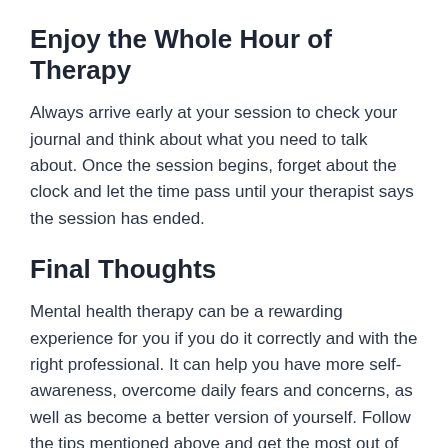Enjoy the Whole Hour of Therapy
Always arrive early at your session to check your journal and think about what you need to talk about. Once the session begins, forget about the clock and let the time pass until your therapist says the session has ended.
Final Thoughts
Mental health therapy can be a rewarding experience for you if you do it correctly and with the right professional. It can help you have more self-awareness, overcome daily fears and concerns, as well as become a better version of yourself. Follow the tips mentioned above and get the most out of your therapy.